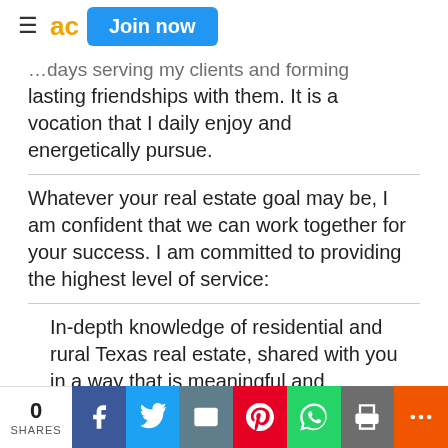≡ ad Join now
…days serving my clients and forming lasting friendships with them. It is a vocation that I daily enjoy and energetically pursue.
Whatever your real estate goal may be, I am confident that we can work together for your success. I am committed to providing the highest level of service:
In-depth knowledge of residential and rural Texas real estate, shared with you in a way that is meaningful and…
0 SHARES | Facebook | Twitter | Email | Pinterest | WhatsApp | Print | More